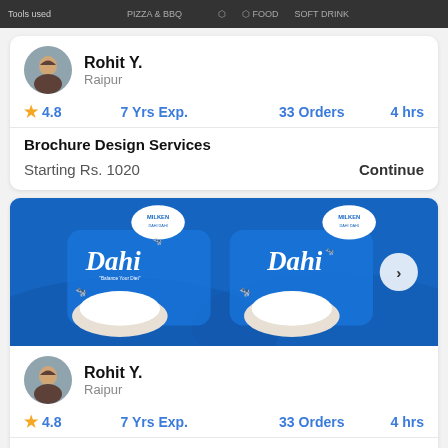[Figure (screenshot): Top banner screenshot showing partial view of a service listing with tools used text and food/BBQ icons]
Rohit Y.
Raipur
4.8   7 Yrs Exp.   33 Orders   4 hrs
Brochure Design Services
Starting Rs. 1020   Continue
[Figure (photo): Blue packaging design for Milken Dahi (yogurt) product showing two containers with white yogurt and cow illustrations on blue background]
Rohit Y.
Raipur
4.8   7 Yrs Exp.   33 Orders   4 hrs
Packaging, Label & Box Design ...
Starting Rs. 1224   Continue